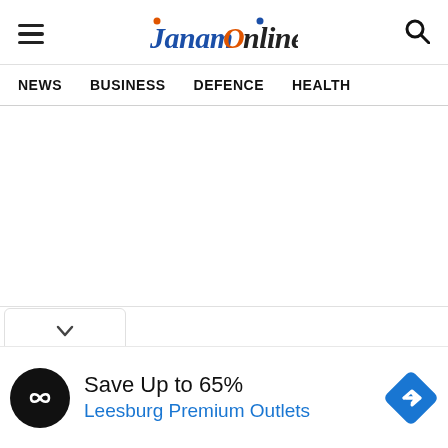JanamOnline — navigation header with hamburger menu, logo, and search icon
NEWS    BUSINESS    DEFENCE    HEALTH
[Figure (screenshot): Empty white content area below navigation]
[Figure (infographic): Advertisement bar: Save Up to 65% — Leesburg Premium Outlets]